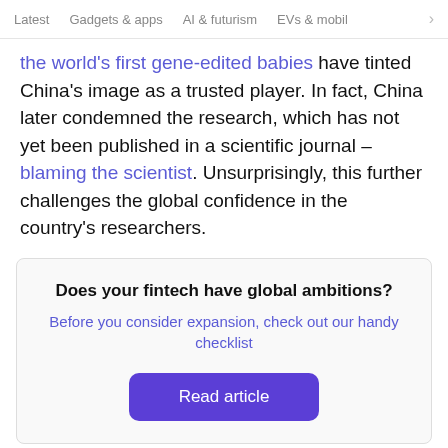Latest   Gadgets & apps   AI & futurism   EVs & mobil >
the world's first gene-edited babies have tinted China's image as a trusted player. In fact, China later condemned the research, which has not yet been published in a scientific journal – blaming the scientist. Unsurprisingly, this further challenges the global confidence in the country's researchers.
Does your fintech have global ambitions?
Before you consider expansion, check out our handy checklist
Read article